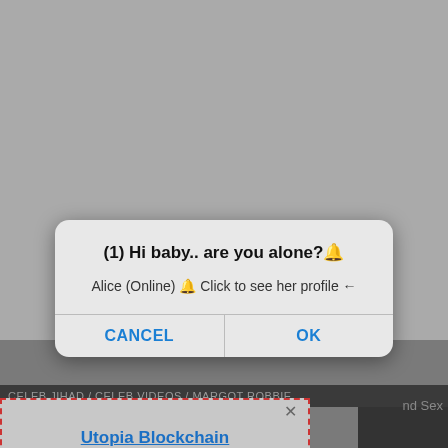[Figure (screenshot): Screenshot of a webpage with a modal dialog and an ad overlay. Background shows a dark grey webpage.]
(1) Hi baby.. are you alone?🔔
Alice (Online) 🔔 Click to see her profile ←
CANCEL
OK
CELEB JIHAD / CELEB VIDEOS / MARGOT ROBBIE
nd Sex
×
Utopia Blockchain
features anonymous transactions with no metadata
u.is